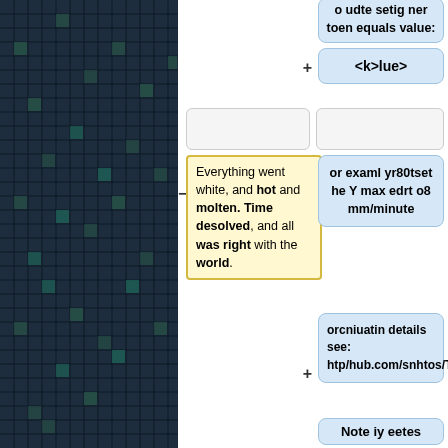[Figure (screenshot): Dark blue-grey grid pattern on left panel, approximately 178px wide, resembling a pixelated or tiled grid with small squares in dark navy and teal colors]
o udte setig ner toen equals value:
<k>lue>
Everything went white, and hot and molten. Time desolved, and all was right with the world.
or examl yr80tset he Y max edrt o8 mm/minute
orcniuatin details see: htp/hub.com/snhtos/TinywiiGfguration
Note iy eetes